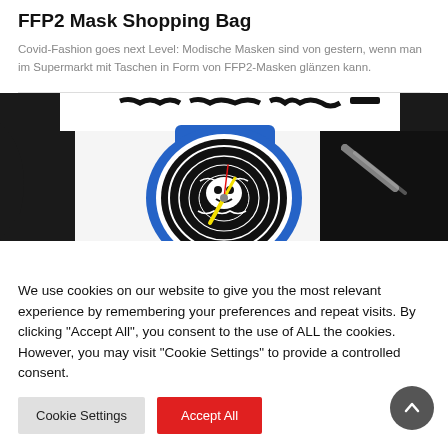FFP2 Mask Shopping Bag
Covid-Fashion goes next Level: Modische Masken sind von gestern, wenn man im Supermarkt mit Taschen in Form von FFP2-Masken glänzen kann.
[Figure (photo): Close-up photo of a Swatch watch with blue strap and artistic black-and-white dial design with yellow hands, layered over a black and white graffiti/art background.]
We use cookies on our website to give you the most relevant experience by remembering your preferences and repeat visits. By clicking "Accept All", you consent to the use of ALL the cookies. However, you may visit "Cookie Settings" to provide a controlled consent.